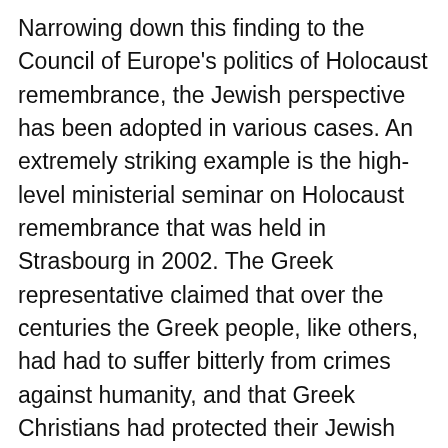Narrowing down this finding to the Council of Europe's politics of Holocaust remembrance, the Jewish perspective has been adopted in various cases. An extremely striking example is the high-level ministerial seminar on Holocaust remembrance that was held in Strasbourg in 2002. The Greek representative claimed that over the centuries the Greek people, like others, had had to suffer bitterly from crimes against humanity, and that Greek Christians had protected their Jewish neighbors under life-threatening conditions.[17] For a similarly disturbing message, the Hungarian delegate chose a slightly more subtle tone, stating at the same event that the Holocaust did not only affect half a million Hungarian Jews who had been killed in camps, but all ten million citizens who were lucky enough to